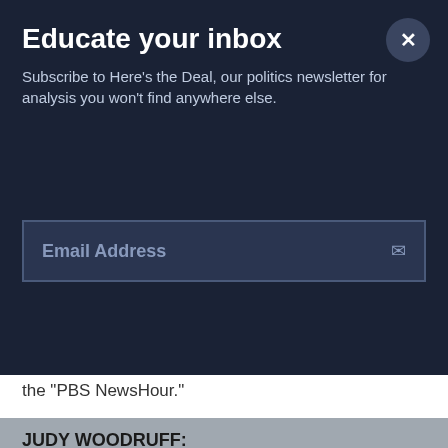Educate your inbox
Subscribe to Here's the Deal, our politics newsletter for analysis you won't find anywhere else.
Email Address
the "PBS NewsHour."
JUDY WOODRUFF:
Chef Jamie DeRosa shared one of the recipes he prepared that evening at the foodie event, lobster seviche with guava. And you can find that on our home page. Also there, catch up on all of our Cuba reports from this week, including photo